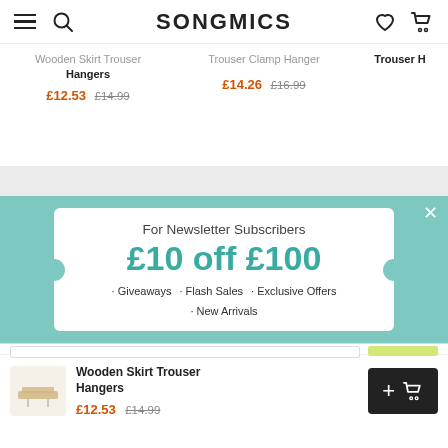SONGMICS
Wooden Skirt Trouser Hangers £12.53 £14.99
Trouser Clamp Hanger £14.26 £16.99
Trouser H...
[Figure (screenshot): Newsletter popup coupon banner with teal background. Text: 'For Newsletter Subscribers', '£10 off £100', '· Giveaways · Flash Sales · Exclusive Offers · New Arrivals']
Wooden Skirt Trouser Hangers £12.53 £14.99